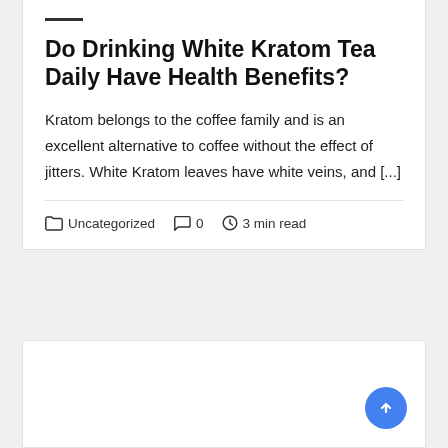Do Drinking White Kratom Tea Daily Have Health Benefits?
Kratom belongs to the coffee family and is an excellent alternative to coffee without the effect of jitters. White Kratom leaves have white veins, and [...]
Uncategorized   0   3 min read